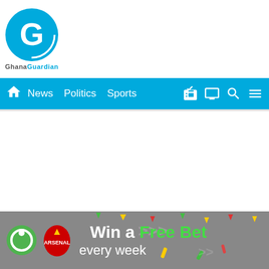[Figure (logo): Ghana Guardian logo — circular G icon in blue/white above text 'GhanaGuardian']
News  Politics  Sports
[Figure (infographic): Sportsbets / Arsenal 'Win a Free Bet every week' advertisement banner with grey background, colorful confetti, green circle logo, Arsenal crest, and text]